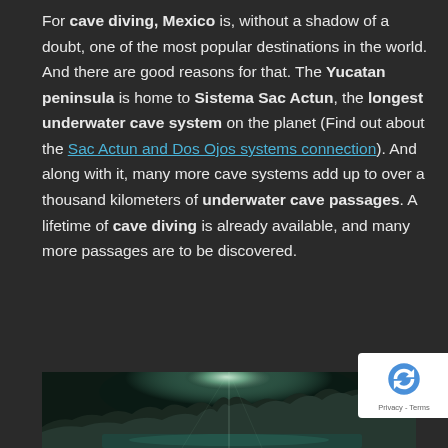For cave diving, Mexico is, without a shadow of a doubt, one of the most popular destinations in the world. And there are good reasons for that. The Yucatan peninsula is home to Sistema Sac Actun, the longest underwater cave system on the planet (Find out about the Sac Actun and Dos Ojos systems connection). And along with it, many more cave systems add up to over a thousand kilometers of underwater cave passages. A lifetime of cave diving is already available, and many more passages are to be discovered.
[Figure (photo): Underwater cave scene with light filtering through cave opening, rocks and aqua/teal water visible at the bottom of the page]